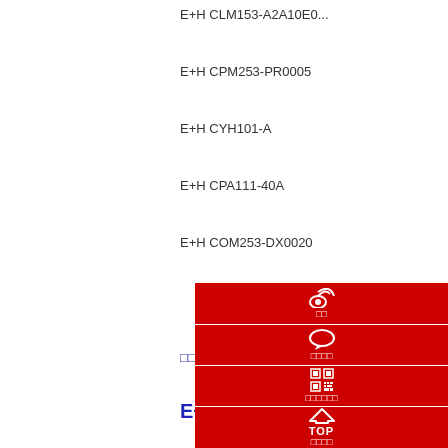E+H CLM153-A2A10E0...
E+H CPM253-PR0005
E+H CYH101-A
E+H CPA111-40A
E+H COM253-DX0020
□□□□□ (red Japanese)
□□E+... (blue small)
E+H... (blue large bold)
E+H CO...
E+H CL...
E+H CL...
E+H CL...
E+H CL...
E+H CL...
E+H CL...
E+H CL...
E+H CL...
E+H CLS50-A1A2
E+H CLM223-CD0010
[Figure (infographic): Red overlay panel with four sections: phone icon with Japanese label, speech bubble icon with Japanese label, QR code icon with Japanese label, house/TOP icon with Japanese label for page top]